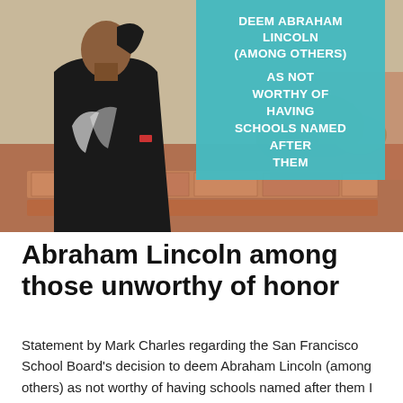[Figure (photo): A Native American man wearing a black t-shirt with white graphic print, viewed from the side/back, standing outdoors with reddish stone structures and trees in the background. An overlay teal/turquoise text box in the upper right of the image reads: 'DEEM ABRAHAM LINCOLN (AMONG OTHERS) AS NOT WORTHY OF HAVING SCHOOLS NAMED AFTER THEM']
Abraham Lincoln among those unworthy of honor
Statement by Mark Charles regarding the San Francisco School Board's decision to deem Abraham Lincoln (among others) as not worthy of having schools named after them I support the San Francisco school board's decision to remove President Abraham Lincoln's name from its